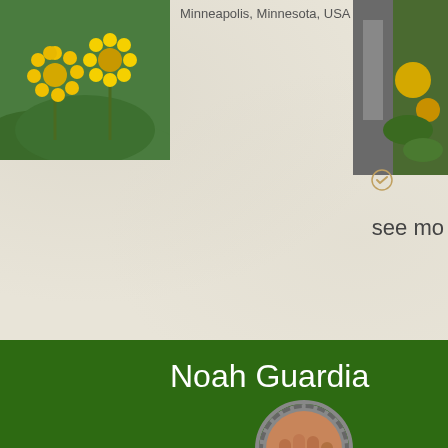[Figure (photo): Yellow dandelion flowers photo on left side]
Minneapolis, Minnesota, USA
[Figure (photo): Plant/flowers photo on right side partially cropped]
[Figure (illustration): Small circular check/verified icon]
see mo
Noah Guardia
[Figure (photo): Circular avatar photo of person's hand holding object, partially cropped at bottom]